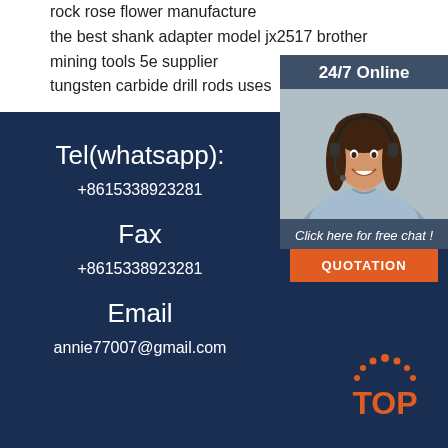rock rose flower manufacture the best shank adapter model jx2517 brother mining tools 5e supplier tungsten carbide drill rods uses
[Figure (photo): Customer service representative woman wearing headset, smiling, with '24/7 Online' header, 'Click here for free chat!' text, and orange QUOTATION button]
Tel(whatsapp):
+8615338923281
Fax
+8615338923281
Email
annie77007@gmail.com
[Figure (logo): Orange TOP logo with dotted arc above the word TOP]